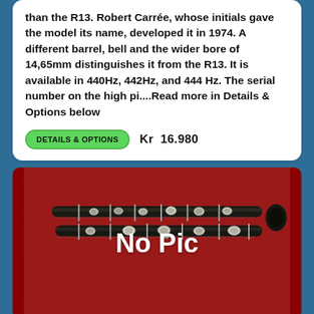than the R13. Robert Carrée, whose initials gave the model its name, developed it in 1974. A different barrel, bell and the wider bore of 14,65mm distinguishes it from the R13. It is available in 440Hz, 442Hz, and 444 Hz. The serial number on the high pi....Read more in Details & Options below
DETAILS & OPTIONS   Kr  16.980
[Figure (photo): Photo of a clarinet on a red background with 'No Pic' text overlay]